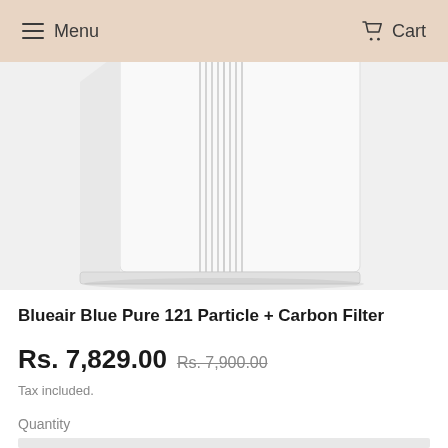Menu  Cart
[Figure (photo): Close-up photo of a white Blueair Blue Pure 121 Particle + Carbon Filter air purifier filter, showing the pleated white filter material with gray/silver trim lines on a light background.]
Blueair Blue Pure 121 Particle + Carbon Filter
Rs. 7,829.00  Rs. 7,900.00
Tax included.
Quantity